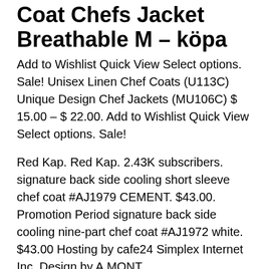Coat Chefs Jacket Breathable M – köpa
Add to Wishlist Quick View Select options. Sale! Unisex Linen Chef Coats (U113C) Unique Design Chef Jackets (MU106C) $ 15.00 – $ 22.00. Add to Wishlist Quick View Select options. Sale!
Red Kap. Red Kap. 2.43K subscribers. signature back side cooling short sleeve chef coat #AJ1979 CEMENT. $43.00. Promotion Period signature back side cooling nine-part chef coat #AJ1972 white. $43.00 Hosting by cafe24 Simplex Internet Inc. Design by A.MONT. Juxtarenal abdominal aortic aneurysm endovascular repair
summer short sleeve cotton blends unisex design